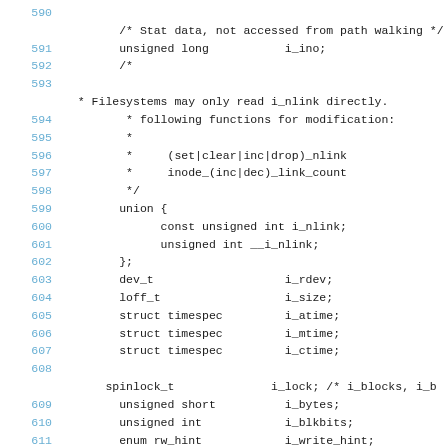Source code listing, lines 590-611, C kernel inode struct definition
590: (blank)
/* Stat data, not accessed from path walking */
591:     unsigned long           i_ino;
592:     /*
593: (blank)
* Filesystems may only read i_nlink directly.
594:      * following functions for modification:
595:      *
596:      *     (set|clear|inc|drop)_nlink
597:      *     inode_(inc|dec)_link_count
598:      */
599:     union {
600:           const unsigned int i_nlink;
601:           unsigned int __i_nlink;
602:     };
603:     dev_t                   i_rdev;
604:     loff_t                  i_size;
605:     struct timespec         i_atime;
606:     struct timespec         i_mtime;
607:     struct timespec         i_ctime;
608: (blank)
spinlock_t                i_lock; /* i_blocks, i_b
609:     unsigned short          i_bytes;
610:     unsigned int            i_blkbits;
611:     enum rw_hint            i_write_hint;